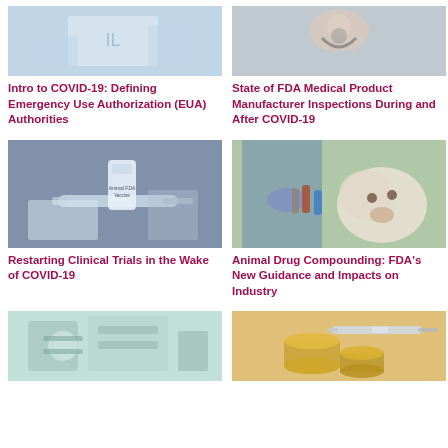[Figure (photo): Medical/clinical image related to COVID-19 EUA]
Intro to COVID-19: Defining Emergency Use Authorization (EUA) Authorities
[Figure (photo): Medical professional with stethoscope related to FDA inspections]
State of FDA Medical Product Manufacturer Inspections During and After COVID-19
[Figure (photo): Vaccine vials and syringe related to clinical trials]
Restarting Clinical Trials in the Wake of COVID-19
[Figure (photo): Veterinarian with small white dog and medicine vials]
Animal Drug Compounding: FDA's New Guidance and Impacts on Industry
[Figure (photo): Laboratory equipment and machinery]
[Figure (photo): Syringe and coins representing drug costs]